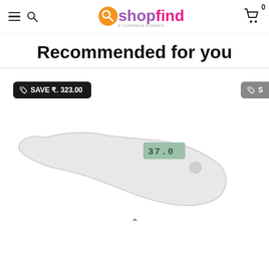shopfind E-Commerce Retailers — navigation header with hamburger menu, search icon, logo, and cart with count 0
Recommended for you
[Figure (screenshot): Save badge showing 'SAVE ₹. 323.00' on dark background with tag icon]
[Figure (photo): White digital clinical thermometer with small LCD display showing 37.0 temperature reading, on white background]
[Figure (other): Partial dark save badge on right edge, partially cropped]